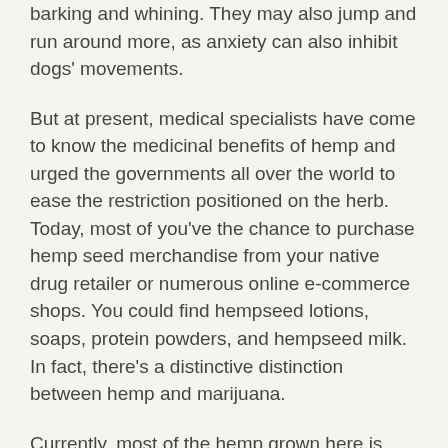barking and whining. They may also jump and run around more, as anxiety can also inhibit dogs' movements.
But at present, medical specialists have come to know the medicinal benefits of hemp and urged the governments all over the world to ease the restriction positioned on the herb. Today, most of you've the chance to purchase hemp seed merchandise from your native drug retailer or numerous online e-commerce shops. You could find hempseed lotions, soaps, protein powders, and hempseed milk. In fact, there's a distinctive distinction between hemp and marijuana.
Currently, most of the hemp grown here is being used to make CBD oil, the super popular